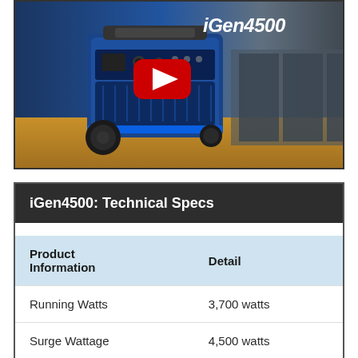[Figure (photo): Video thumbnail showing a blue Westinghouse iGen4500 portable inverter generator on a wooden surface in a garage setting, with a red YouTube play button overlay and 'iGen4500' text in the upper right corner.]
iGen4500: Technical Specs
| Product Information | Detail |
| --- | --- |
| Running Watts | 3,700 watts |
| Surge Wattage | 4,500 watts |